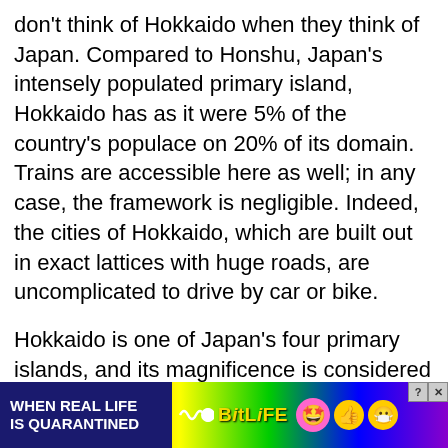don't think of Hokkaido when they think of Japan. Compared to Honshu, Japan's intensely populated primary island, Hokkaido has as it were 5% of the country's populace on 20% of its domain. Trains are accessible here as well; in any case, the framework is negligible. Indeed, the cities of Hokkaido, which are built out in exact lattices with huge roads, are uncomplicated to drive by car or bike.
Hokkaido is one of Japan's four primary islands, and its magnificence is considered to be extraordinary. Driving through this road will permit you to visit around six flawless byways, counting vistas of the Swiss Alps, the French farmland, and exciting lavender fields. It's an excellent thought to travel this street along with your windows down, or you'll miss out on the dazzling smell of the lavender areas.
Explore Japan's northernmost island together with you possess wheels, and you'll have the flexibility to reroute to sapphire [obscured] inside hot springs [obscured by ad]
[Figure (infographic): Advertisement banner for BitLife game: 'WHEN REAL LIFE IS QUARANTINED' with BitLife logo, emoji icons (star-eyes face, thumbs up, masked face), rainbow gradient background, and close/question buttons in top right corner.]